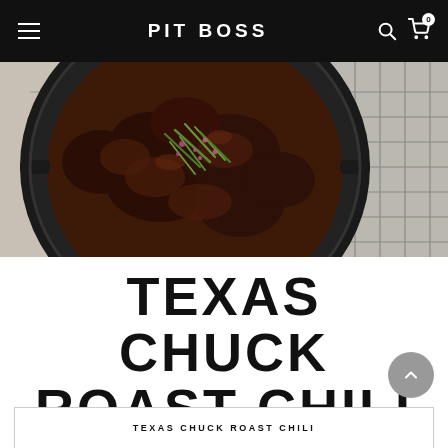PIT BOSS
[Figure (photo): Overhead view of Texas Chuck Roast Chili in a black cast iron Dutch oven on a wire cooling rack, garnished with sliced green onions and diced red onions, placed on a light gray surface]
TEXAS CHUCK ROAST CHILI
TEXAS CHUCK ROAST CHILI